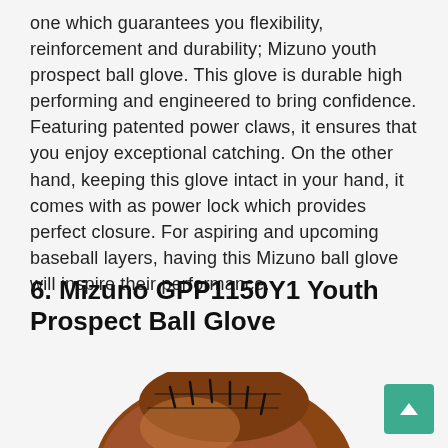one which guarantees you flexibility, reinforcement and durability; Mizuno youth prospect ball glove. This glove is durable high performing and engineered to bring confidence. Featuring patented power claws, it ensures that you enjoy exceptional catching. On the other hand, keeping this glove intact in your hand, it comes with as power lock which provides perfect closure. For aspiring and upcoming baseball layers, having this Mizuno ball glove will inspire their performance.
6. Mizuno GPP1150Y1 Youth Prospect Ball Glove
[Figure (photo): Photo of a brown leather Mizuno youth prospect baseball glove with black lacing]